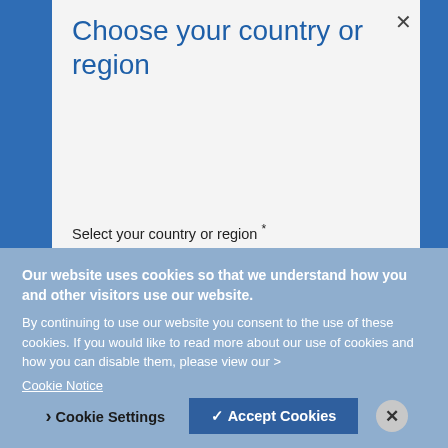Choose your country or region
Select your country or region *
United States of America
Remember my choice every time I come back
Our website uses cookies so that we understand how you and other visitors use our website.
By continuing to use our website you consent to the use of these cookies. If you would like to read more about our use of cookies and how you can disable them, please view our >
Cookie Notice
Cookie Settings
Accept Cookies